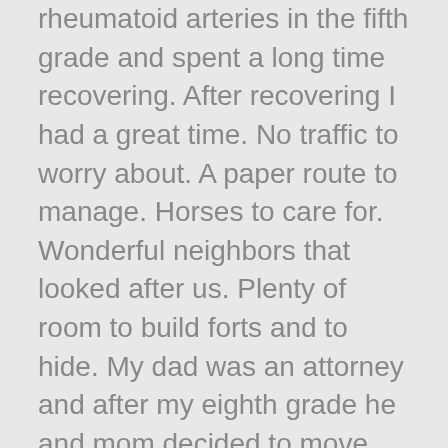rheumatoid arteries in the fifth grade and spent a long time recovering. After recovering I had a great time. No traffic to worry about. A paper route to manage. Horses to care for. Wonderful neighbors that looked after us. Plenty of room to build forts and to hide. My dad was an attorney and after my eighth grade he and mom decided to move from Shelby County to Pottawattamie county and we left Shelby and moved to Avoca.
Pork Chop
My first recollection of Avoca was that our dog "Pork Chop" decided not to move. After leaving our new home one night he trotted back to Shelby where everyone knew him.